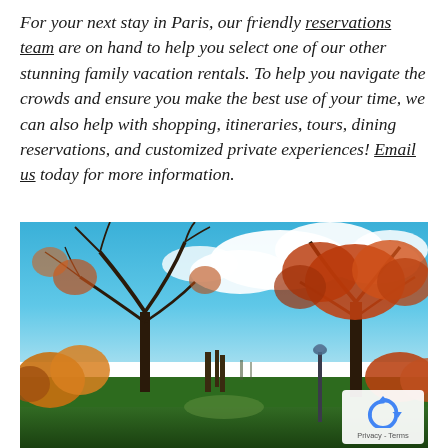For your next stay in Paris, our friendly reservations team are on hand to help you select one of our other stunning family vacation rentals. To help you navigate the crowds and ensure you make the best use of your time, we can also help with shopping, itineraries, tours, dining reservations, and customized private experiences! Email us today for more information.
[Figure (photo): Outdoor park scene in Paris showing autumn trees with colorful orange and yellow foliage against a bright blue sky with white clouds. A lamp post is visible in the lower right area of the image.]